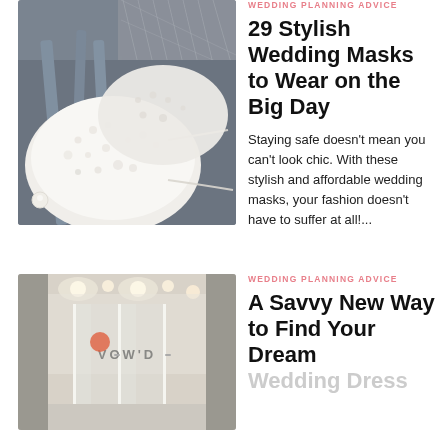[Figure (photo): Two white lace wedding face masks on a gray background with pearl decorations and string ties]
WEDDING PLANNING ADVICE
29 Stylish Wedding Masks to Wear on the Big Day
Staying safe doesn't mean you can't look chic. With these stylish and affordable wedding masks, your fashion doesn't have to suffer at all!...
[Figure (photo): Exterior of VOW'D bridal boutique storefront with glass doors and warm interior lighting]
WEDDING PLANNING ADVICE
A Savvy New Way to Find Your Dream Wedding Dress